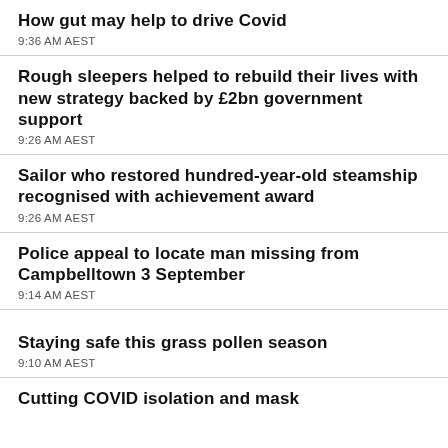How gut may help to drive Covid
9:36 AM AEST
Rough sleepers helped to rebuild their lives with new strategy backed by £2bn government support
9:26 AM AEST
Sailor who restored hundred-year-old steamship recognised with achievement award
9:26 AM AEST
Police appeal to locate man missing from Campbelltown 3 September
9:14 AM AEST
Staying safe this grass pollen season
9:10 AM AEST
Cutting COVID isolation and mask